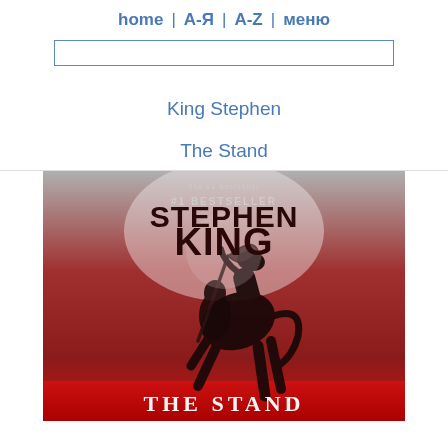home | А-Я | А-Z | меню
King Stephen
The Stand
[Figure (photo): Book cover of The Stand by Stephen King. Shows a dark figure with a scythe riding a rearing horse against a red/dark background. Text reads: #1 BESTSELLER STEPHEN KING THE STAND]